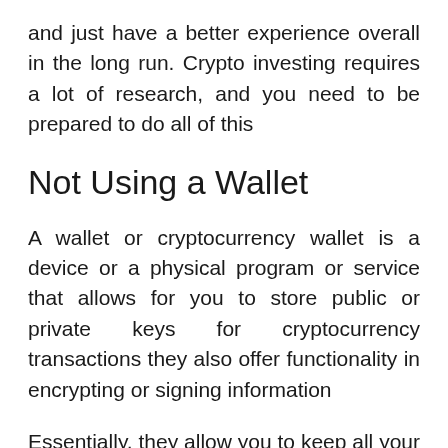and just have a better experience overall in the long run. Crypto investing requires a lot of research, and you need to be prepared to do all of this
Not Using a Wallet
A wallet or cryptocurrency wallet is a device or a physical program or service that allows for you to store public or private keys for cryptocurrency transactions they also offer functionality in encrypting or signing information
Essentially, they allow you to keep all your crypto information in one place that is secure and protected. A cryptocurrency wallet is essentially an app that allows users to store and retrieve their digital assets. Just like with a regular wallet you don't need to spend all your